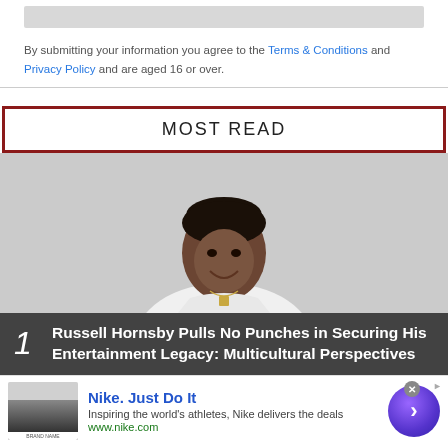[Figure (other): Gray input/form bar at top]
By submitting your information you agree to the Terms & Conditions and Privacy Policy and are aged 16 or over.
MOST READ
[Figure (photo): Photo of Russell Hornsby, a smiling man in a white t-shirt against a light gray background]
1 Russell Hornsby Pulls No Punches in Securing His Entertainment Legacy: Multicultural Perspectives
[Figure (other): Nike advertisement banner: Nike. Just Do It — Inspiring the world's athletes, Nike delivers the deals — www.nike.com]